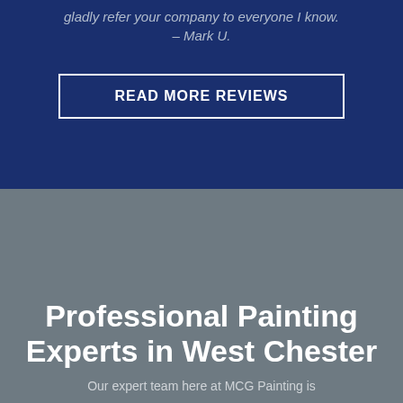gladly refer your company to everyone I know. – Mark U.
READ MORE REVIEWS
Professional Painting Experts in West Chester
Our expert team here at MCG Painting is